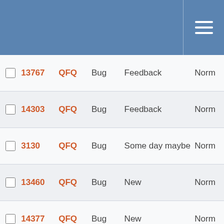|  | ID | Project | Type | Status | Priority |
| --- | --- | --- | --- | --- | --- |
|  | 13767 | QFQ | Bug | Feedback | Norm |
|  | 14303 | QFQ | Bug | Feedback | Norm |
|  | 3130 | QFQ | Bug | Some day maybe | Norm |
|  | 13460 | QFQ | Bug | New | Norm |
|  | 14377 | QFQ | Bug | New | Norm |
|  | 4293 | QFQ | Bug | Some day maybe | Norm |